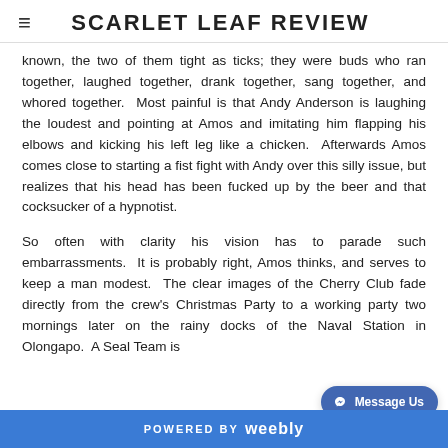SCARLET LEAF REVIEW
known, the two of them tight as ticks; they were buds who ran together, laughed together, drank together, sang together, and whored together.  Most painful is that Andy Anderson is laughing the loudest and pointing at Amos and imitating him flapping his elbows and kicking his left leg like a chicken.  Afterwards Amos comes close to starting a fist fight with Andy over this silly issue, but realizes that his head has been fucked up by the beer and that cocksucker of a hypnotist.
So often with clarity his vision has to parade such embarrassments.  It is probably right, Amos thinks, and serves to keep a man modest.  The clear images of the Cherry Club fade directly from the crew's Christmas Party to a working party two mornings later on the rainy docks of the Naval Station in Olongapo.  A Seal Team is
POWERED BY weebly